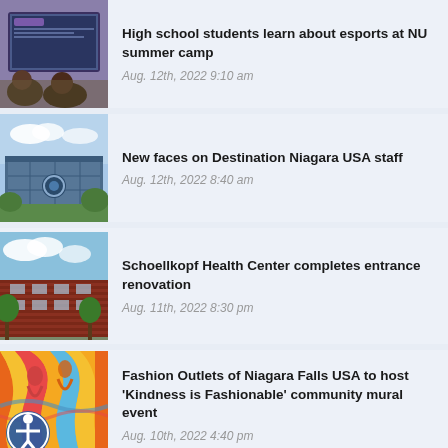[Figure (photo): Screenshot of esports gaming on a computer screen with students in the background]
High school students learn about esports at NU summer camp
Aug. 12th, 2022 9:10 am
[Figure (photo): Exterior of a modern building with a circular logo sign, blue sky and greenery]
New faces on Destination Niagara USA staff
Aug. 12th, 2022 8:40 am
[Figure (photo): Exterior of a red brick building with trees and blue sky]
Schoellkopf Health Center completes entrance renovation
Aug. 11th, 2022 8:30 pm
[Figure (photo): Colorful community mural with abstract figures in orange, yellow, blue colors, with accessibility icon overlay]
Fashion Outlets of Niagara Falls USA to host 'Kindness is Fashionable' community mural event
Aug. 10th, 2022 4:40 pm